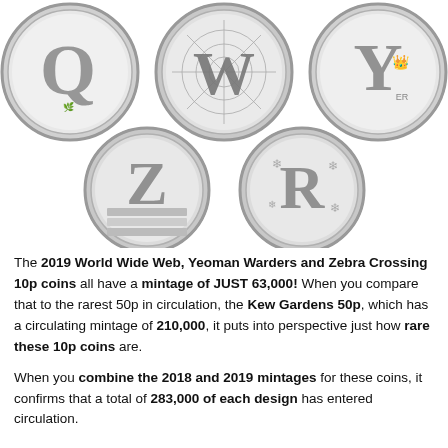[Figure (photo): Five UK 10p coins showing letters Q (with Queen scene), W (with spider web), Y (Yeoman Warder), Z (Zebra Crossing), and R (with snowflakes and robin). Top row shows Q, W, Y; bottom row shows Z and R.]
The 2019 World Wide Web, Yeoman Warders and Zebra Crossing 10p coins all have a mintage of JUST 63,000! When you compare that to the rarest 50p in circulation, the Kew Gardens 50p, which has a circulating mintage of 210,000, it puts into perspective just how rare these 10p coins are.
When you combine the 2018 and 2019 mintages for these coins, it confirms that a total of 283,000 of each design has entered circulation.